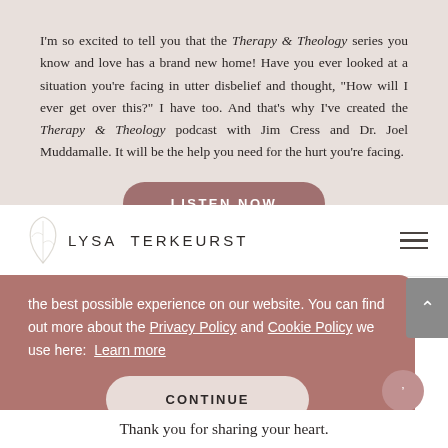I'm so excited to tell you that the Therapy & Theology series you know and love has a brand new home! Have you ever looked at a situation you're facing in utter disbelief and thought, "How will I ever get over this?" I have too. And that's why I've created the Therapy & Theology podcast with Jim Cress and Dr. Joel Muddamalle. It will be the help you need for the hurt you're facing.
[Figure (other): LISTEN NOW button — a rounded rectangle button in mauve/dusty rose color with white uppercase text]
[Figure (logo): Lysa TerKeurst website logo — uppercase sans-serif text 'LYSA TERKEURST' with a decorative leaf/botanical illustration]
[Figure (other): Hamburger menu icon — three horizontal lines stacked]
the best possible experience on our website. You can find out more about the Privacy Policy and Cookie Policy we use here: Learn more
[Figure (other): CONTINUE button — a rounded rectangle button in light blush color with dark uppercase bold text 'CONTINUE']
[Figure (other): Scroll to top button — grey rectangle with white upward arrow chevron]
Thank you for sharing your heart.